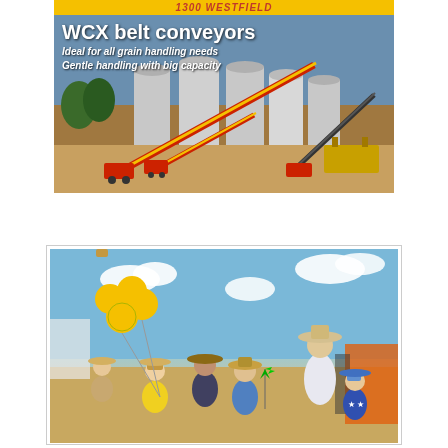[Figure (photo): Westfield WCX belt conveyors advertisement showing grain silos with red/yellow belt conveyors at a farm. Top banner reads '1300 WESTFIELD'. Text overlay: 'WCX belt conveyors / Ideal for all grain handling needs / Gentle handling with big capacity']
[Figure (photo): Group photo of six people (adults and children) at an outdoor agricultural event. People wearing cowboy hats and sun hats. Yellow balloons visible on left. Blue sky with white clouds in background.]